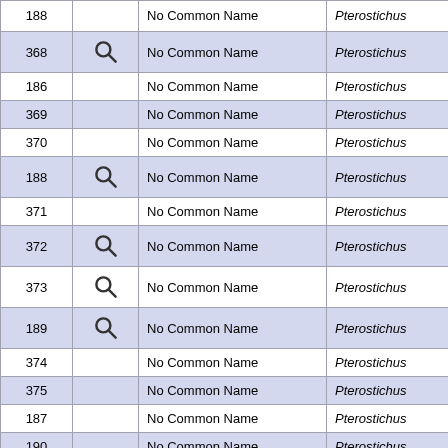| ID | Icon | Common Name | Genus |
| --- | --- | --- | --- |
| 188 |  | No Common Name | Pterostichus |
| 368 | Q | No Common Name | Pterostichus |
| 186 |  | No Common Name | Pterostichus |
| 369 |  | No Common Name | Pterostichus |
| 370 |  | No Common Name | Pterostichus |
| 188 | Q | No Common Name | Pterostichus |
| 371 |  | No Common Name | Pterostichus |
| 372 | Q | No Common Name | Pterostichus |
| 373 | Q | No Common Name | Pterostichus |
| 189 | Q | No Common Name | Pterostichus |
| 374 |  | No Common Name | Pterostichus |
| 375 |  | No Common Name | Pterostichus |
| 187 |  | No Common Name | Pterostichus |
| 190 |  | No Common Name | Pterostichus |
| 171 |  | No Common Name | Rhadine |
| 376 |  | No Common Name | Scaphinotus |
| 377 |  | No Common Name | Scaphinotus |
| 378 |  | No Common Name | Scaphinotus |
| 191 |  | No Common Name | Scaphinotus |